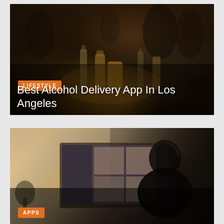[Figure (photo): Bar/party scene with bottles and glasses on a table, people in the background in a dark venue. Orange 'LIFESTYLE' tag overlaid at bottom left, with headline 'Best Alcohol Delivery App In Los Angeles' in white text below.]
[Figure (photo): Person sitting at a desk with their back to camera, silhouetted against a computer monitor showing photo editing software. Orange 'APPS' tag overlaid at bottom left.]